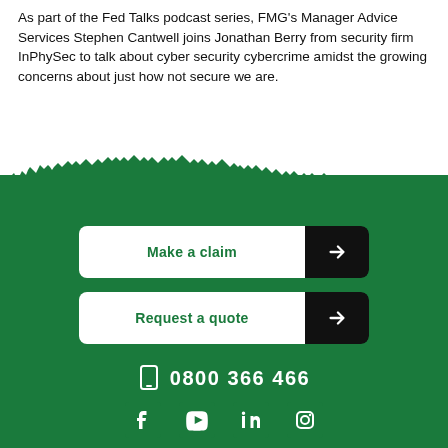As part of the Fed Talks podcast series, FMG's Manager Advice Services Stephen Cantwell joins Jonathan Berry from security firm InPhySec to talk about cyber security cybercrime amidst the growing concerns about just how not secure we are.
[Figure (illustration): Green silhouette wave/mountain shape dividing the white area above from the green section below, resembling a jagged treeline or audio waveform.]
Make a claim →
Request a quote →
0800 366 466
[Figure (infographic): Row of four social media icons: Facebook, YouTube, LinkedIn, Instagram — all white on green background.]